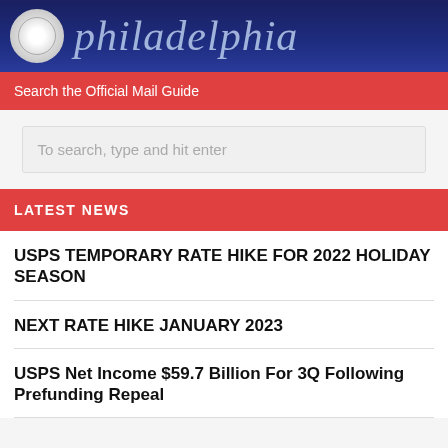[Figure (photo): Philadelphia city header banner with dark blue background and 'philadelphia' text in italic white/light blue lettering, with a circular seal/logo on the left]
Search the Official Mail Guide
To search, type and hit enter
LATEST NEWS
USPS TEMPORARY RATE HIKE FOR 2022 HOLIDAY SEASON
NEXT RATE HIKE JANUARY 2023
USPS Net Income $59.7 Billion For 3Q Following Prefunding Repeal